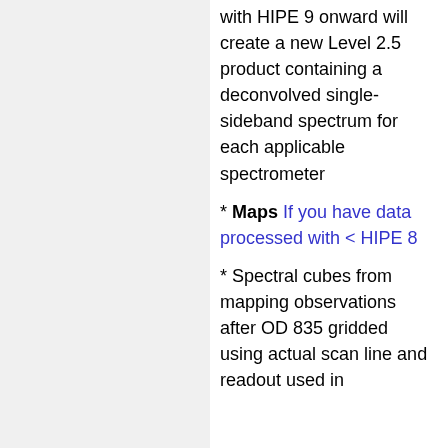with HIPE 9 onward will create a new Level 2.5 product containing a deconvolved single-sideband spectrum for each applicable spectrometer
* Maps If you have data processed with < HIPE 8
* Spectral cubes from mapping observations after OD 835 gridded using actual scan line and readout used in